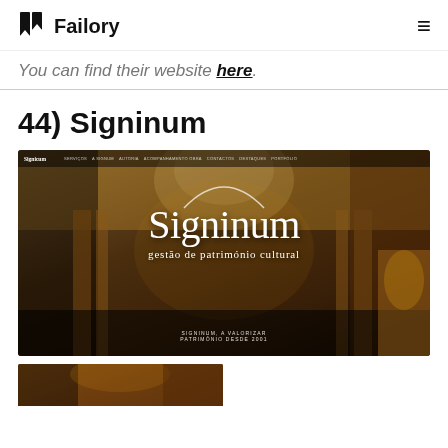Failory
You can find their website here.
44) Signinum
[Figure (screenshot): Screenshot of the Signinum website homepage showing a grand ornate interior building photograph with large white serif text reading 'Signinum' and subtitle 'gestão de património cultural'. Bottom text reads 'SIGNINUM, A VALORIZAR PATRIMÓNIO DESDE 2001'. Navigation bar visible at top with menu items.]
[Figure (photo): Partial view of another website screenshot at the bottom of the page, showing a dark/warm-toned image, partially cut off.]